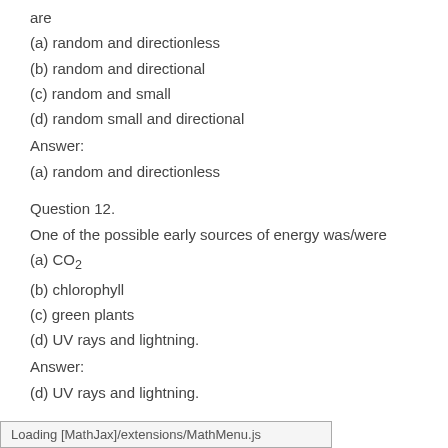are
(a) random and directionless
(b) random and directional
(c) random and small
(d) random small and directional
Answer:
(a) random and directionless
Question 12.
One of the possible early sources of energy was/were
(a) CO2
(b) chlorophyll
(c) green plants
(d) UV rays and lightning.
Answer:
(d) UV rays and lightning.
Loading [MathJax]/extensions/MathMenu.js